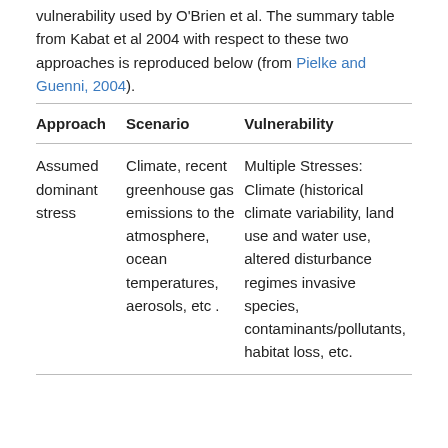vulnerability used by O'Brien et al. The summary table from Kabat et al 2004 with respect to these two approaches is reproduced below (from Pielke and Guenni, 2004).
| Approach | Scenario | Vulnerability |
| --- | --- | --- |
| Assumed dominant stress | Climate, recent greenhouse gas emissions to the atmosphere, ocean temperatures, aerosols, etc . | Multiple Stresses: Climate (historical climate variability, land use and water use, altered disturbance regimes invasive species, contaminants/pollutants, habitat loss, etc. |